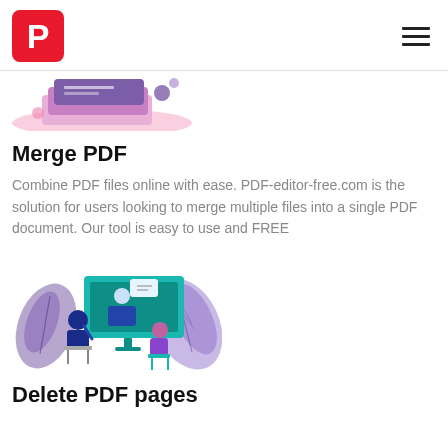P (logo) | hamburger menu
[Figure (illustration): Illustration of stacked files/folders in pink and purple tones, partially visible at top]
Merge PDF
Combine PDF files online with ease. PDF-editor-free.com is the solution for users looking to merge multiple files into a single PDF document. Our tool is easy to use and FREE
[Figure (illustration): Illustration of two people at a desk with a monitor showing a video call, with teal and dark blue and purple colors, and decorative leaves in purple]
Delete PDF pages